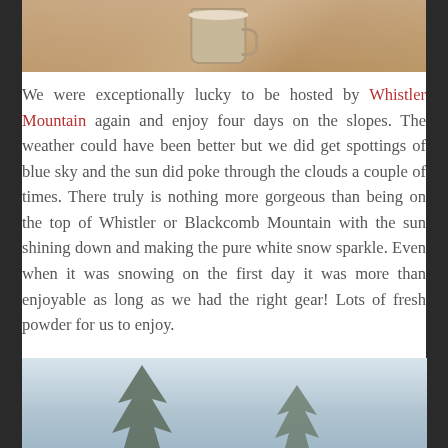[Figure (photo): Partial view of a mug and kitchen/wooden furniture surface from above]
We were exceptionally lucky to be hosted by Whistler Mountain again and enjoy four days on the slopes. The weather could have been better but we did get spottings of blue sky and the sun did poke through the clouds a couple of times. There truly is nothing more gorgeous than being on the top of Whistler or Blackcomb Mountain with the sun shining down and making the pure white snow sparkle. Even when it was snowing on the first day it was more than enjoyable as long as we had the right gear! Lots of fresh powder for us to enjoy.
[Figure (photo): Snow-covered trees against a light grey snowy sky at Whistler mountain]